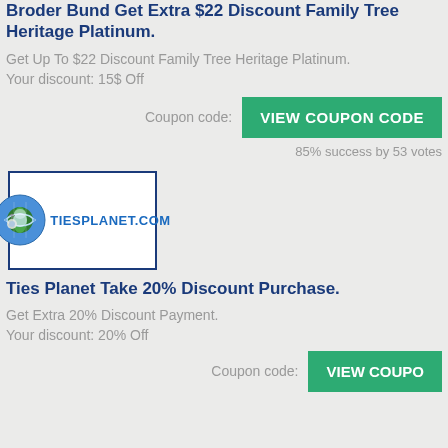Broder Bund Get Extra $22 Discount Family Tree Heritage Platinum.
Get Up To $22 Discount Family Tree Heritage Platinum.
Your discount: 15$ Off
Coupon code: VIEW COUPON CODE
85% success by 53 votes
[Figure (logo): Tiesplanet.com logo with globe icon]
Ties Planet Take 20% Discount Purchase.
Get Extra 20% Discount Payment.
Your discount: 20% Off